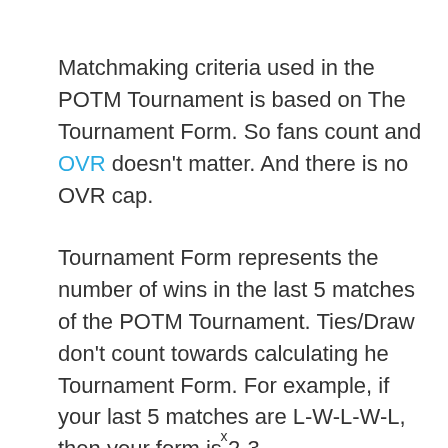Matchmaking criteria used in the POTM Tournament is based on The Tournament Form. So fans count and OVR doesn't matter. And there is no OVR cap.
Tournament Form represents the number of wins in the last 5 matches of the POTM Tournament. Ties/Draw don't count towards calculating he Tournament Form. For example, if your last 5 matches are L-W-L-W-L, then your form is 2-3.
x